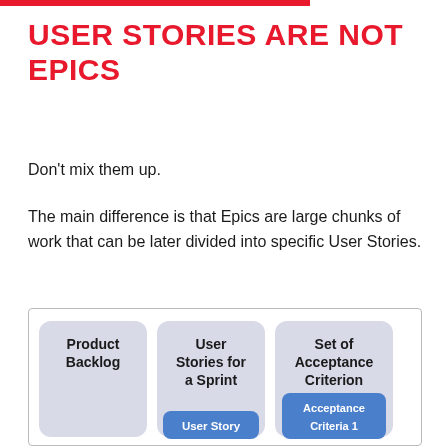USER STORIES ARE NOT EPICS
Don’t mix them up.
The main difference is that Epics are large chunks of work that can be later divided into specific User Stories.
[Figure (infographic): Diagram showing three columns: Product Backlog, User Stories for a Sprint, and Set of Acceptance Criterion. The second column has a blue sub-box labeled 'User Story' and the third has a blue sub-box labeled 'Acceptance Criteria 1'.]